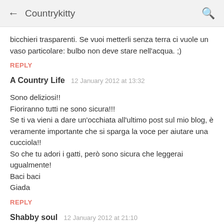← Countrykitty 🔍
bicchieri trasparenti. Se vuoi metterli senza terra ci vuole un vaso particolare: bulbo non deve stare nell'acqua. ;)
REPLY
A Country Life  12 January 2012 at 13:32
Sono deliziosi!!
Fioriranno tutti ne sono sicura!!!
Se ti va vieni a dare un'occhiata all'ultimo post sul mio blog, è veramente importante che si sparga la voce per aiutare una cucciola!!
So che tu adori i gatti, però sono sicura che leggerai ugualmente!
Baci baci
Giada
REPLY
Shabby soul  12 January 2012 at 21:10